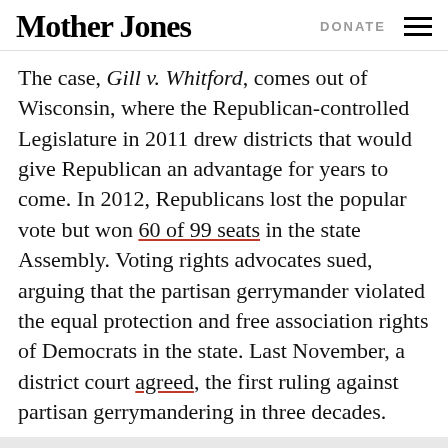Mother Jones | DONATE
The case, Gill v. Whitford, comes out of Wisconsin, where the Republican-controlled Legislature in 2011 drew districts that would give Republican an advantage for years to come. In 2012, Republicans lost the popular vote but won 60 of 99 seats in the state Assembly. Voting rights advocates sued, arguing that the partisan gerrymander violated the equal protection and free association rights of Democrats in the state. Last November, a district court agreed, the first ruling against partisan gerrymandering in three decades.
MOTHER JONES TOP STORIES